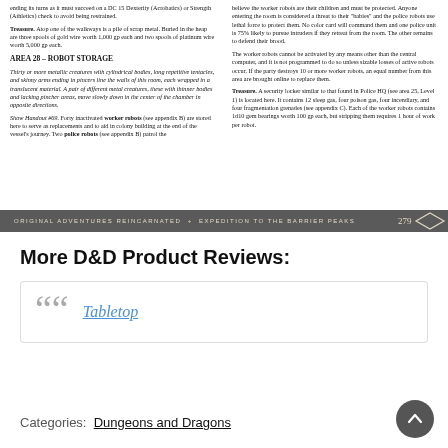ending its turn as it must succeed on a DC 15 Dexterity (Acrobatics) or Strength (Athletics) check to avoid being restrained.
Treasure. Atop one of the walkways is a pile of scrap metal. Buried in the heap are three spools of gold wire worth 1,000 gp each and two spools of platinum wire worth 5,000 gp each.
AREA 28 – ROBOT STORAGE
Thirty or more metallic creatures with cylindrical bodies, long repetitive tentacles, and skinny arms ending in pincers line the walls of this room, each wrapped in a translucent material. A pair of different metal creatures, these with thinner bodies and lacking pincher areas, move slowly down in the center of the chamber in opposite directions.
Show Handout #69. Forty inactivated worker robots (see appendix B) are stored here to serve as replacements and to aid in colony building at the end of the vessel's journey. Two police robots (see appendix B) patrol the
believe the worker robots are their children and must be protected. Anyone entering the room is considered a threat to their "babies" and the police robots use lethal force to protect them. No color card will command them and one police unit is 75% likely to pursue intruders if they retreat from the room. The other remains to defend their brood.
The worker robots cannot be activated by any means other than the central computer, and it is not programmed to do so unless sizable losses of active robots occur. If the party destroys 10 or more worker robots, an equal number from this area are brought online to replace them.
Treasure. A security locker similar to that found in Police HQ (see area 25, Level 1) is located here. It contains 12 sleep gas, four poison gas, four incendiary, and four fragmentation grenades (see appendix C). Each of the worker robots contains 1d10 gem bearings worth 100 gp each, but stripping them requires 1 hour of work per robot.
ORIGINAL ADVENTURES REINCARNATED + EXPEDITION TO THE BARRIER PEAKS   279
More D&D Product Reviews:
Tabletop
Categories:  Dungeons and Dragons